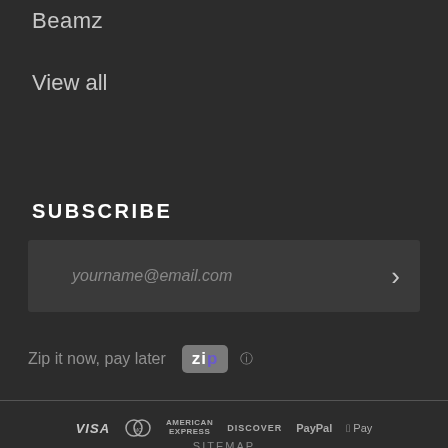Beamz
View all
SUBSCRIBE
yourname@email.com
Zip it now, pay later
[Figure (logo): Zip payment logo - white text on grey background]
VISA  MasterCard  AMERICAN EXPRESS  DISCOVER  PayPal  Apple Pay  SITEMAP